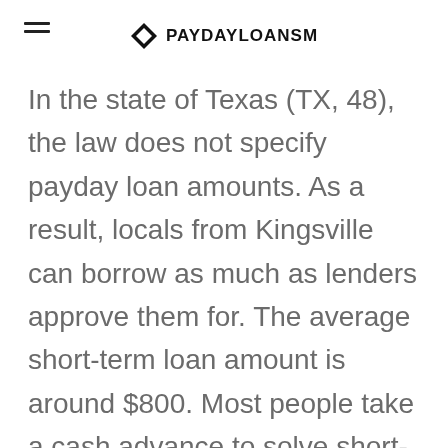PAYDAYLOANSM
In the state of Texas (TX, 48), the law does not specify payday loan amounts. As a result, locals from Kingsville can borrow as much as lenders approve them for. The average short-term loan amount is around $800. Most people take a cash advance to solve short-term financial emergencies. The state regulations are more tolerant compared